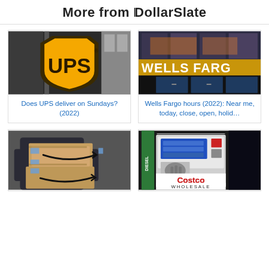More from DollarSlate
[Figure (photo): UPS truck logo sign close-up photo]
Does UPS deliver on Sundays? (2022)
[Figure (photo): Wells Fargo bank branch exterior sign photo]
Wells Fargo hours (2022): Near me, today, close, open, holid…
[Figure (photo): Person holding Amazon delivery boxes]
[Figure (photo): Costco Wholesale gas station diesel pump]